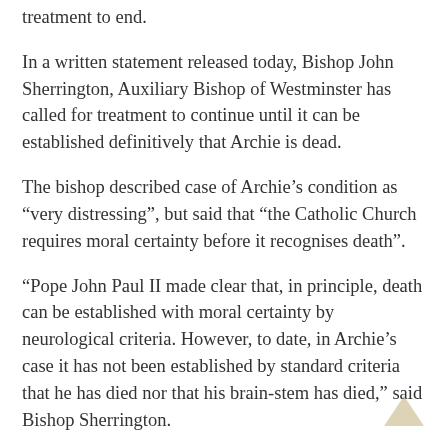treatment to end.
In a written statement released today, Bishop John Sherrington, Auxiliary Bishop of Westminster has called for treatment to continue until it can be established definitively that Archie is dead.
The bishop described case of Archie’s condition as “very distressing”, but said that “the Catholic Church requires moral certainty before it recognises death”.
“Pope John Paul II made clear that, in principle, death can be established with moral certainty by neurological criteria. However, to date, in Archie’s case it has not been established by standard criteria that he has died nor that his brain-stem has died,” said Bishop Sherrington.